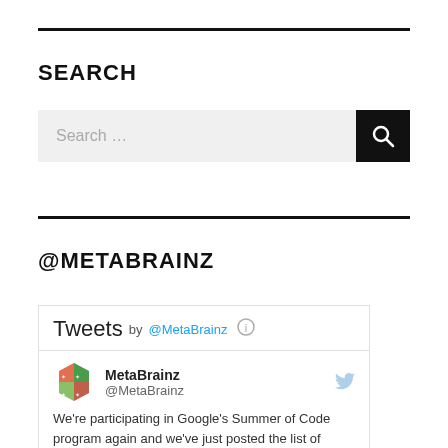SEARCH
[Figure (screenshot): Search input box with placeholder text 'Search ...' and a black search button with magnifying glass icon]
@METABRAINZ
[Figure (screenshot): Twitter/tweets widget showing 'Tweets by @MetaBrainz' with MetaBrainz account avatar, handle @MetaBrainz, and partial tweet text: We're participating in Google's Summer of Code program again and we've just posted the list of projects/participants we have]